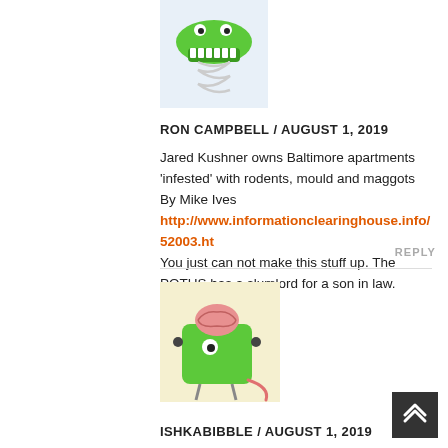[Figure (illustration): Cartoon avatar of a green creature with teeth and springs, partially cropped at top]
RON CAMPBELL / AUGUST 1, 2019
Jared Kushner owns Baltimore apartments ‘infested’ with rodents, mould and maggots By Mike Ives http://www.informationclearinghouse.info/52003.ht You just can not make this stuff up. The POTUS has a slumlord for a son in law.
REPLY
[Figure (illustration): Cartoon avatar of a green square character with a brain on top, arms, legs, and a tail]
ISHKABIBBLE / AUGUST 1, 2019